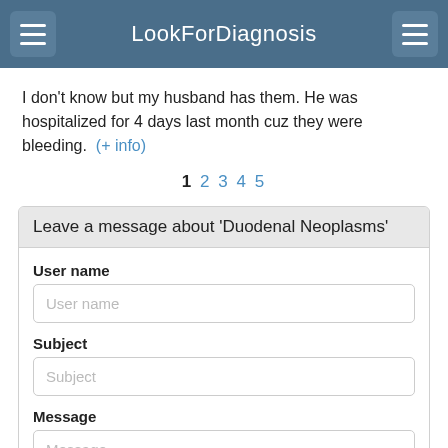LookForDiagnosis
I don't know but my husband has them. He was hospitalized for 4 days last month cuz they were bleeding. (+ info)
1 2 3 4 5
Leave a message about 'Duodenal Neoplasms'
User name
Subject
Message